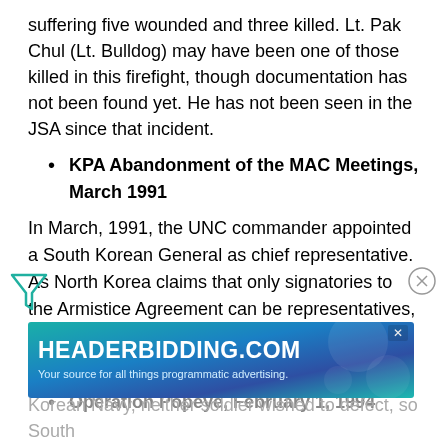suffering five wounded and three killed. Lt. Pak Chul (Lt. Bulldog) may have been one of those killed in this firefight, though documentation has not been found yet. He has not been seen in the JSA since that incident.
KPA Abandonment of the MAC Meetings, March 1991
In March, 1991, the UNC commander appointed a South Korean General as chief representative. As North Korea claims that only signatories to the Armistice Agreement can be representatives, they refused to attend any more MAC meetings.[28]
Operation Popeye, February 1, 1994
In Janu... the East C... Korean Navy, neither soldier wished to defect, so South
[Figure (other): HEADERBIDDING.COM advertisement banner — 'Your source for all things programmatic advertising.']